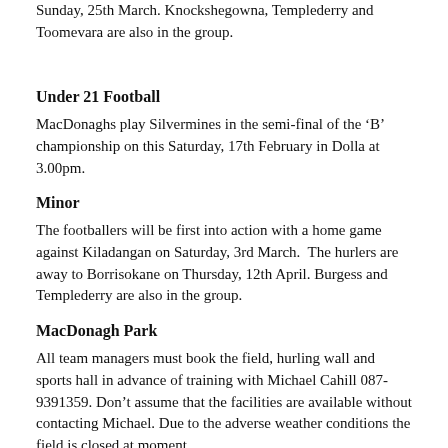Sunday, 25th March. Knockshegowna, Templederry and Toomevara are also in the group.
Under 21 Football
MacDonaghs play Silvermines in the semi-final of the ‘B’ championship on this Saturday, 17th February in Dolla at 3.00pm.
Minor
The footballers will be first into action with a home game against Kiladangan on Saturday, 3rd March.  The hurlers are away to Borrisokane on Thursday, 12th April. Burgess and Templederry are also in the group.
MacDonagh Park
All team managers must book the field, hurling wall and sports hall in advance of training with Michael Cahill 087-9391359. Don’t assume that the facilities are available without contacting Michael. Due to the adverse weather conditions the field is closed at moment.